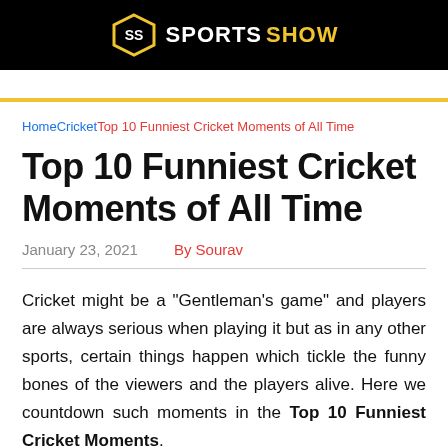SPORTS SHOW
HomeCricketTop 10 Funniest Cricket Moments of All Time
Top 10 Funniest Cricket Moments of All Time
January 23, 2021   By Sourav
Cricket might be a "Gentleman's game" and players are always serious when playing it but as in any other sports, certain things happen which tickle the funny bones of the viewers and the players alive. Here we countdown such moments in the Top 10 Funniest Cricket Moments.